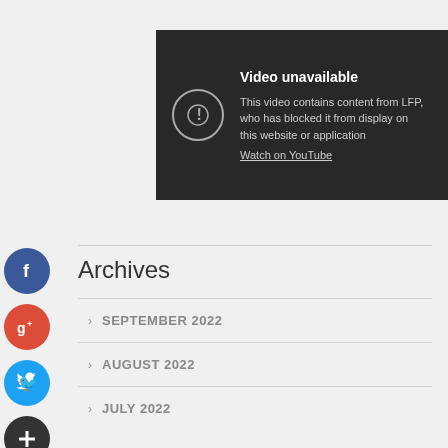[Figure (screenshot): YouTube video unavailable screen with dark background. Shows a circle with exclamation mark icon, 'Video unavailable' heading, message 'This video contains content from LFP, who has blocked it from display on this website or application', 'Watch on YouTube' link, and a YouTube play button icon in the bottom right corner.]
Archives
SEPTEMBER 2022
AUGUST 2022
JULY 2022